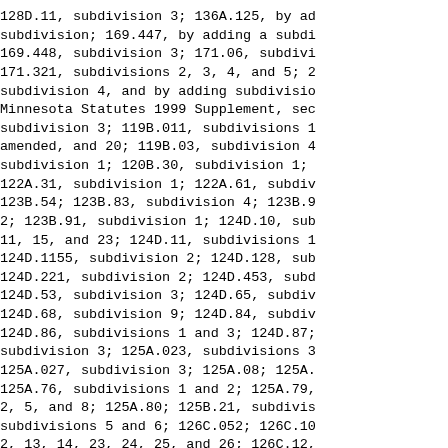128D.11, subdivision 3; 136A.125, by ad subdivision; 169.447, by adding a subdi 169.448, subdivision 3; 171.06, subdivi 171.321, subdivisions 2, 3, 4, and 5; 2 subdivision 4, and by adding subdivisio Minnesota Statutes 1999 Supplement, sec subdivision 3; 119B.011, subdivisions 1 amended, and 20; 119B.03, subdivision 4 subdivision 1; 120B.30, subdivision 1; 122A.31, subdivision 1; 122A.61, subdiv 123B.54; 123B.83, subdivision 4; 123B.9 2; 123B.91, subdivision 1; 124D.10, sub 11, 15, and 23; 124D.11, subdivisions 1 124D.1155, subdivision 2; 124D.128, sub 124D.221, subdivision 2; 124D.453, subd 124D.53, subdivision 3; 124D.65, subdiv 124D.68, subdivision 9; 124D.84, subdiv 124D.86, subdivisions 1 and 3; 124D.87; subdivision 3; 125A.023, subdivisions 3 125A.027, subdivision 3; 125A.08; 125A. 125A.76, subdivisions 1 and 2; 125A.79, 2, 5, and 8; 125A.80; 125B.21, subdivis subdivisions 5 and 6; 126C.052; 126C.10 2, 13, 14, 23, 24, 25, and 26; 126C.12,